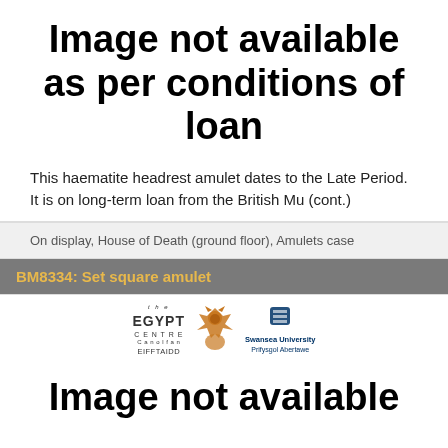Image not available as per conditions of loan
This haematite headrest amulet dates to the Late Period. It is on long-term loan from the British Mu (cont.)
On display, House of Death (ground floor), Amulets case
BM8334: Set square amulet
[Figure (logo): Egypt Centre Canolfan Eifftaidd logo with Anubis figure and Swansea University Prifysgol Abertawe logo]
Image not available